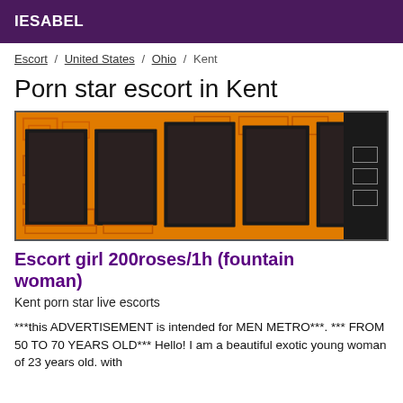IESABEL
Escort / United States / Ohio / Kent
Porn star escort in Kent
[Figure (photo): Collage of escort advertisement photos on orange background with decorative geometric pattern]
Escort girl 200roses/1h (fountain woman)
Kent porn star live escorts
***this ADVERTISEMENT is intended for MEN METRO***. *** FROM 50 TO 70 YEARS OLD*** Hello! I am a beautiful exotic young woman of 23 years old. with